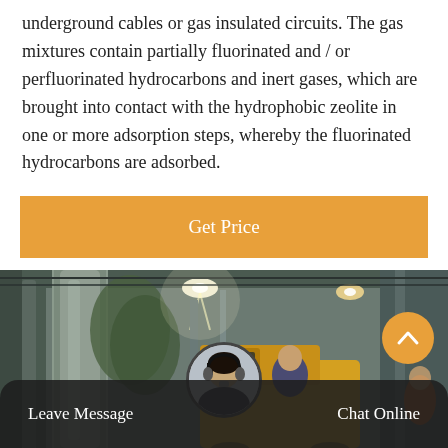underground cables or gas insulated circuits. The gas mixtures contain partially fluorinated and / or perfluorinated hydrocarbons and inert gases, which are brought into contact with the hydrophobic zeolite in one or more adsorption steps, whereby the fluorinated hydrocarbons are adsorbed.
Get Price
[Figure (photo): Industrial facility interior with large pipes and equipment, a yellow truck visible in the background, overhead lighting illuminating the space.]
Leave Message
Chat Online